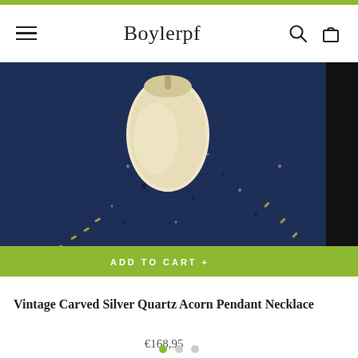Boylerpf
[Figure (photo): Close-up product photo of a vintage carved silver quartz acorn pendant necklace against a dark navy blue textured background, with gold stitching details visible, showing a cream/ivory colored acorn shape. An 'ADD TO CART +' button in olive green overlays the bottom of the image.]
Vintage Carved Silver Quartz Acorn Pendant Necklace
€168,95